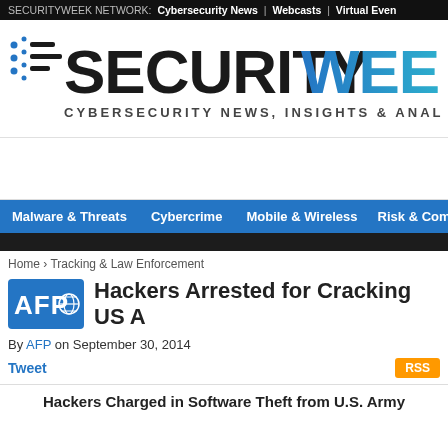SECURITYWEEK NETWORK: Cybersecurity News | Webcasts | Virtual Even
[Figure (logo): SecurityWeek logo with tagline: CYBERSECURITY NEWS, INSIGHTS & ANALYSIS]
[Figure (other): Advertisement placeholder]
Malware & Threats | Cybercrime | Mobile & Wireless | Risk & Complia
Home › Tracking & Law Enforcement
Hackers Arrested for Cracking US A
By AFP on September 30, 2014
Tweet   RSS
Hackers Charged in Software Theft from U.S. Army